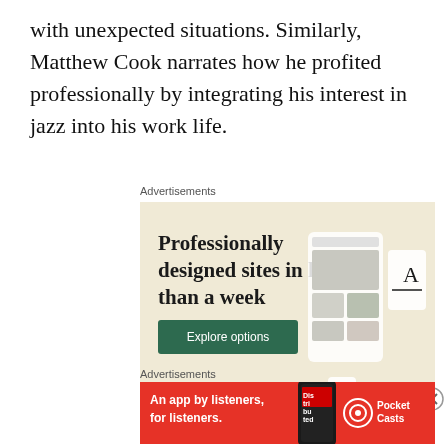with unexpected situations. Similarly, Matthew Cook narrates how he profited professionally by integrating his interest in jazz into his work life.
Advertisements
[Figure (illustration): WordPress advertisement banner showing 'Professionally designed sites in less than a week' with an Explore options button and website mockup screenshots on a beige background with WordPress logo]
Advertisements
[Figure (illustration): Pocket Casts advertisement banner on red background showing 'An app by listeners, for listeners.' with podcast app phone mockup and Pocket Casts logo]